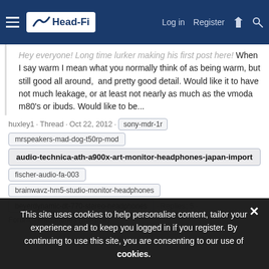Head-Fi — Log in | Register
Hey everyone! Long time lurker making his first post here! When I say warm I mean what you normally think of as being warm, but still good all around, and pretty good detail. Would like it to have not much leakage, or at least not nearly as much as the vmoda m80's or ibuds. Would like to be...
huxley1 · Thread · Oct 22, 2012 · sony-mdr-1r
mrspeakers-mad-dog-t50rp-mod
audio-technica-ath-a900x-art-monitor-headphones-japan-import
fischer-audio-fa-003
brainwavz-hm5-studio-monitor-headphones
beyerdynamic-dt-770-stereo-headphones · Replies: 5 ·
Forum: Headphones (full-size)
Dear Head-Fi! I am pretty new here, just getting into the ... 1350, and a fiio e ... I want something to use at home, something that maximize on comfort, you know
This site uses cookies to help personalise content, tailor your experience and to keep you logged in if you register. By continuing to use this site, you are consenting to our use of cookies.